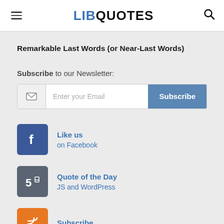LIBQUOTES
Remarkable Last Words (or Near-Last Words)
Subscribe to our Newsletter:
Enter your Email  Subscribe
[Figure (logo): Facebook icon box — Like us on Facebook]
Like us
on Facebook
[Figure (logo): HTML5 icon box — Quote of the Day JS and WordPress]
Quote of the Day
JS and WordPress
[Figure (logo): RSS/orange icon box — Subscribe]
Subscribe